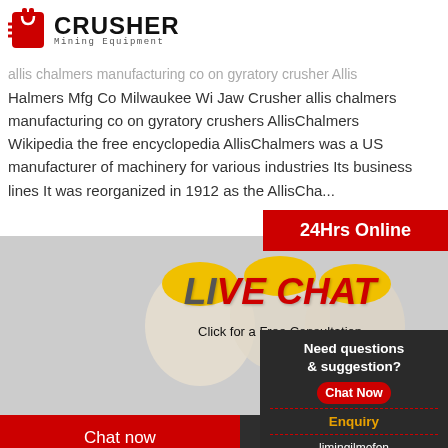[Figure (logo): Crusher Mining Equipment logo with red shopping bag icon and bold black CRUSHER text]
allis chalmers manufacturing co on gyratory crusher Allis Halmers Mfg Co Milwaukee Wi Jaw Crusher allis chalmers manufacturing co on gyratory crushers AllisChalmers Wikipedia the free encyclopedia AllisChalmers was a US manufacturer of machinery for various industries Its business lines It was reorganized in 1912 as the AllisCha...
Read More
[Figure (photo): Live Chat promotional banner with workers in yellow hard hats, LIVE CHAT heading in red italic, Chat now and Chat later buttons]
[Figure (photo): Mining machinery equipment image with LIM watermark]
Need questions & suggestion? Chat Now Enquiry limingjlmofen@sina.com
allis chalmers crusher manual 165 akademiaepsilon.pl
Allis Chalmers Jaw Crusher Manual. Allis-chalm... manufacturing company, 1905-1985 and n.D.Al... sales literature line card and condensed spec sh...